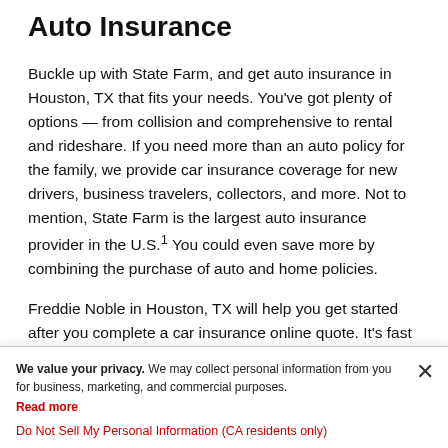Auto Insurance
Buckle up with State Farm, and get auto insurance in Houston, TX that fits your needs. You've got plenty of options — from collision and comprehensive to rental and rideshare. If you need more than an auto policy for the family, we provide car insurance coverage for new drivers, business travelers, collectors, and more. Not to mention, State Farm is the largest auto insurance provider in the U.S.¹ You could even save more by combining the purchase of auto and home policies.
Freddie Noble in Houston, TX will help you get started after you complete a car insurance online quote. It's fast and easy.
We value your privacy. We may collect personal information from you for business, marketing, and commercial purposes. Read more
Do Not Sell My Personal Information (CA residents only)